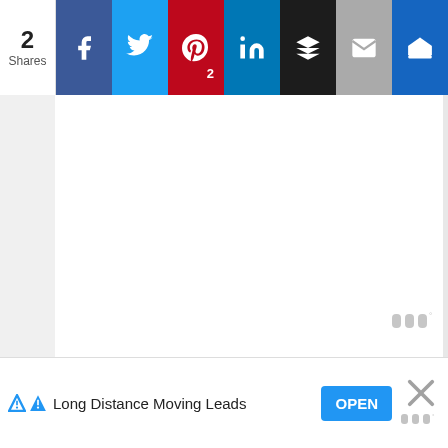2 Shares | Social share bar with Facebook, Twitter, Pinterest (2), LinkedIn, Buffer, Email, Crown
[Figure (screenshot): Large white blank content area with a small watermark logo in lower right]
19.
[Figure (screenshot): Advertisement banner: Long Distance Moving Leads with OPEN button and close X]
[Figure (logo): Watermark logo bottom right of ad close area]